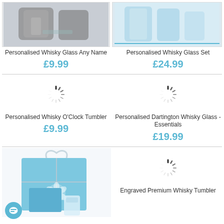[Figure (photo): Product image of Personalised Whisky Glass Any Name - dark/grey glass set]
[Figure (photo): Product image of Personalised Whisky Glass Set - clear glasses with blue packaging]
Personalised Whisky Glass Any Name
£9.99
Personalised Whisky Glass Set
£24.99
[Figure (other): Loading spinner icon for Personalised Whisky O'Clock Tumbler]
[Figure (other): Loading spinner icon for Personalised Dartington Whisky Glass - Essentials]
Personalised Whisky O'Clock Tumbler
£9.99
Personalised Dartington Whisky Glass - Essentials
£19.99
[Figure (photo): Product image of whisky glass with blue gift bag and box packaging]
[Figure (other): Loading spinner icon for Engraved Premium Whisky Tumbler]
Engraved Premium Whisky Tumbler